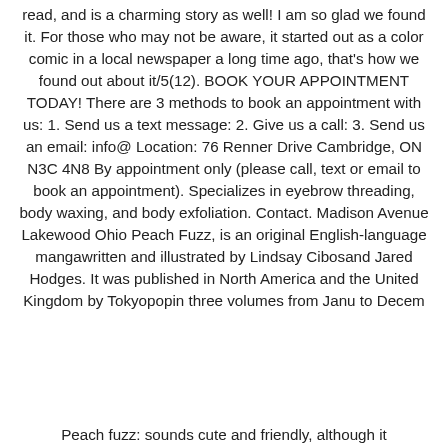read, and is a charming story as well! I am so glad we found it. For those who may not be aware, it started out as a color comic in a local newspaper a long time ago, that's how we found out about it/5(12). BOOK YOUR APPOINTMENT TODAY! There are 3 methods to book an appointment with us: 1. Send us a text message: 2. Give us a call: 3. Send us an email: info@ Location: 76 Renner Drive Cambridge, ON N3C 4N8 By appointment only (please call, text or email to book an appointment). Specializes in eyebrow threading, body waxing, and body exfoliation. Contact. Madison Avenue Lakewood Ohio Peach Fuzz, is an original English-language mangawritten and illustrated by Lindsay Cibosand Jared Hodges. It was published in North America and the United Kingdom by Tokyopopin three volumes from Janu to Decem
Peach fuzz: sounds cute and friendly, although it